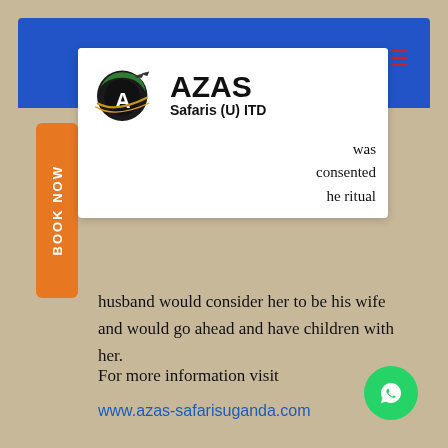[Figure (logo): AZAS Safaris (U) ITD logo with circular globe motif and airplane, company name in bold]
was consented he ritual husband would consider her to be his wife and would go ahead and have children with her.
For more information visit
www.azas-safarisuganda.com